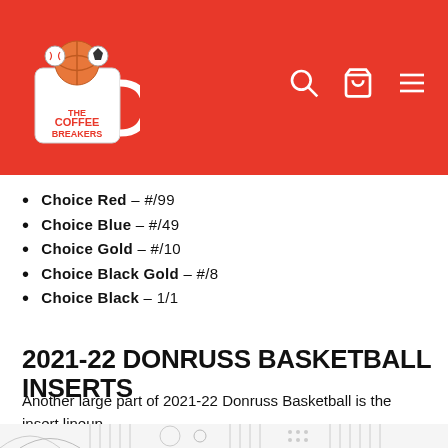[Figure (logo): The Coffee Breakers logo: a white mug with sports balls and text on red background header]
Choice Red – #/99
Choice Blue – #/49
Choice Gold – #/10
Choice Black Gold – #/8
Choice Black – 1/1
2021-22 DONRUSS BASKETBALL INSERTS
Another large part of 2021-22 Donruss Basketball is the insert lineup.
[Figure (illustration): Partial view of basketball court line diagram at bottom of page]